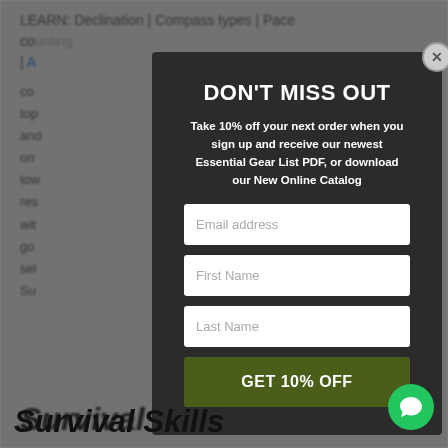LEARN: Declination | Compass types | Pace counting | A... | co...
top... "on" and... re on... tow... res... he wit... a go... sel... te Su...
[Figure (screenshot): Modal popup with dark background showing DON'T MISS OUT promotional offer with email, first name, last name input fields and GET 10% OFF button]
Survival Skills